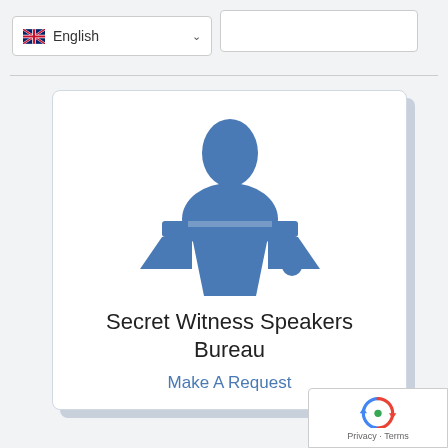[Figure (screenshot): Language selector dropdown showing UK flag and 'English' with a chevron, plus a search box to the right]
[Figure (illustration): Blue silhouette icon of a person standing at a podium/lectern with a microphone]
Secret Witness Speakers Bureau
Make A Request
[Figure (logo): Google reCAPTCHA badge with recycling-arrow logo and 'Privacy - Terms' text]